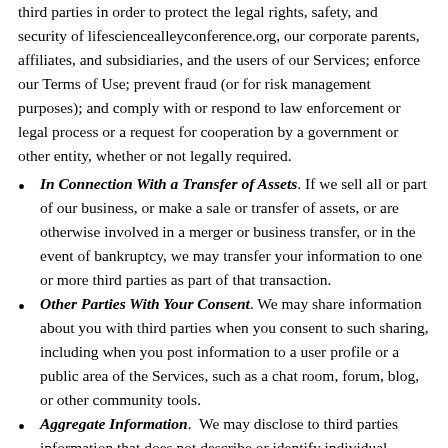third parties in order to protect the legal rights, safety, and security of lifesciencealleyconference.org, our corporate parents, affiliates, and subsidiaries, and the users of our Services; enforce our Terms of Use; prevent fraud (or for risk management purposes); and comply with or respond to law enforcement or legal process or a request for cooperation by a government or other entity, whether or not legally required.
In Connection With a Transfer of Assets. If we sell all or part of our business, or make a sale or transfer of assets, or are otherwise involved in a merger or business transfer, or in the event of bankruptcy, we may transfer your information to one or more third parties as part of that transaction.
Other Parties With Your Consent. We may share information about you with third parties when you consent to such sharing, including when you post information to a user profile or a public area of the Services, such as a chat room, forum, blog, or other community tools.
Aggregate Information.  We may disclose to third parties information that does not describe or identify individual